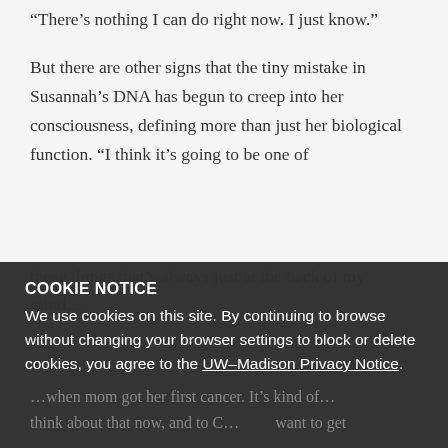“There’s nothing I can do right now. I just know.”
But there are other signs that the tiny mistake in Susannah’s DNA has begun to creep into her consciousness, defining more than just her biological function. “I think it’s going to be one of those things that’s always just at the back of my mind…”
COOKIE NOTICE
We use cookies on this site. By continuing to browse without changing your browser settings to block or delete cookies, you agree to the UW–Madison Privacy Notice.
…when mom got her first cancer. It’s kind of… think about that now, and to C… want to get